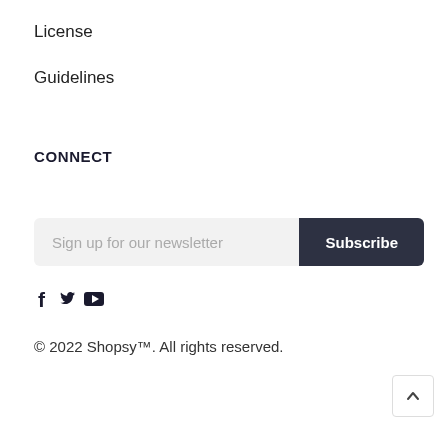License
Guidelines
CONNECT
Sign up for our newsletter [Subscribe button]
[Figure (other): Social media icons: Facebook (f), Twitter (bird), YouTube (play button)]
© 2022 Shopsy™. All rights reserved.
[Figure (other): Back to top button with upward chevron arrow]